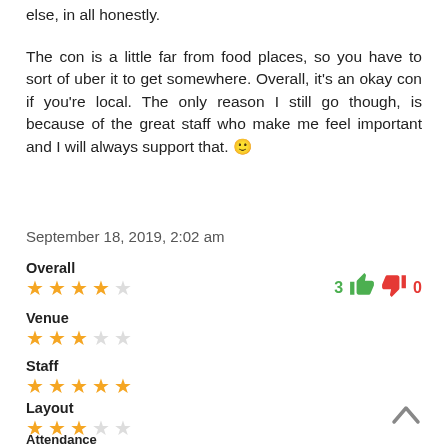else, in all honestly.
The con is a little far from food places, so you have to sort of uber it to get somewhere. Overall, it's an okay con if you're local. The only reason I still go though, is because of the great staff who make me feel important and I will always support that. 🙂
September 18, 2019, 2:02 am
Overall — 4 stars (out of 5), thumbs up: 3, thumbs down: 0
Venue — 3 stars (out of 5)
Staff — 5 stars (out of 5)
Layout — 3 stars (out of 5)
Attendance — 3.5 stars (out of 5)
Affordability